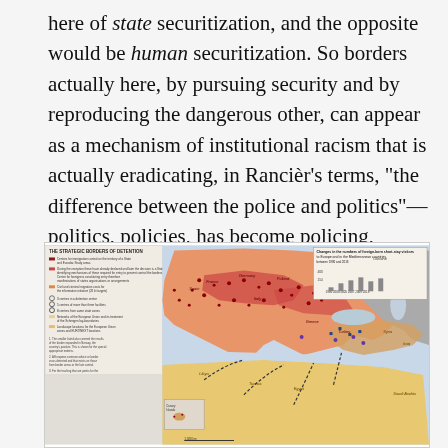here of state securitization, and the opposite would be human securitization. So borders actually here, by pursuing security and by reproducing the dangerous other, can appear as a mechanism of institutional racism that is actually eradicating, in Rancièr's terms, "the difference between the police and politics"—politics, policies, has become policing, basically.
[Figure (map): A map of Europe and surrounding regions showing strategic/border-related data, with legend on the left side and a bar chart inset in the upper right corner. The map uses orange and red shading across European and Mediterranean territories, with various markers and symbols indicating locations of interest. Title reads 'The Strategic Borders of Detention'.]